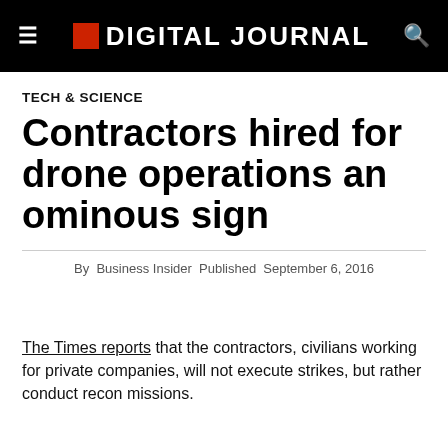DIGITAL JOURNAL
TECH & SCIENCE
Contractors hired for drone operations an ominous sign
By Business Insider Published September 6, 2016
The Times reports that the contractors, civilians working for private companies, will not execute strikes, but rather conduct recon missions.